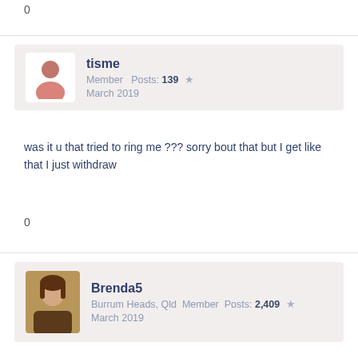0
tisme
Member  Posts: 139  ★
March 2019
was it u that tried to ring me ??? sorry bout that but I get like that I just withdraw
0
Brenda5
Burrum Heads, Qld  Member  Posts: 2,409  ★
March 2019